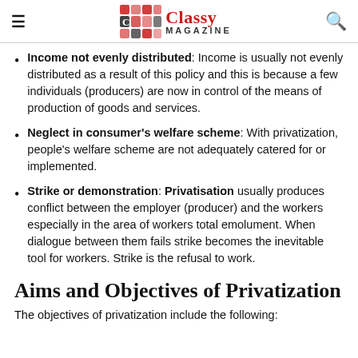Classy Magazine
Income not evenly distributed: Income is usually not evenly distributed as a result of this policy and this is because a few individuals (producers) are now in control of the means of production of goods and services.
Neglect in consumer's welfare scheme: With privatization, people's welfare scheme are not adequately catered for or implemented.
Strike or demonstration: Privatisation usually produces conflict between the employer (producer) and the workers especially in the area of workers total emolument. When dialogue between them fails strike becomes the inevitable tool for workers. Strike is the refusal to work.
Aims and Objectives of Privatization
The objectives of privatization include the following: